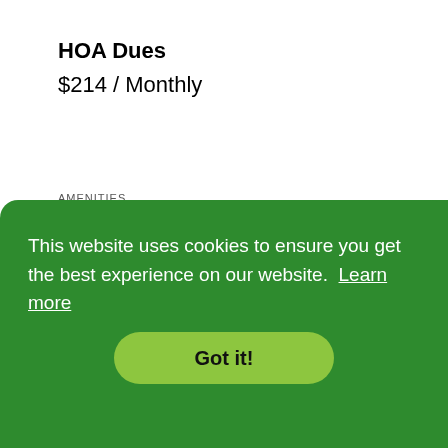HOA Dues
$214 / Monthly
AMENITIES
["Clubhouse","Exercise Room","Party Room","Play Area","Pool","Tennis Court(s)","Trail(s)"]
INCLUDED WITH HOA
This website uses cookies to ensure you get the best experience on our website. Learn more
Got it!